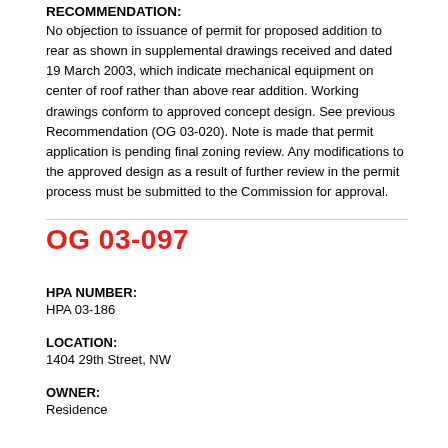RECOMMENDATION:
No objection to issuance of permit for proposed addition to rear as shown in supplemental drawings received and dated 19 March 2003, which indicate mechanical equipment on center of roof rather than above rear addition. Working drawings conform to approved concept design. See previous Recommendation (OG 03-020). Note is made that permit application is pending final zoning review. Any modifications to the approved design as a result of further review in the permit process must be submitted to the Commission for approval.
OG 03-097
HPA NUMBER:
HPA 03-186
LOCATION:
1404 29th Street, NW
OWNER:
Residence